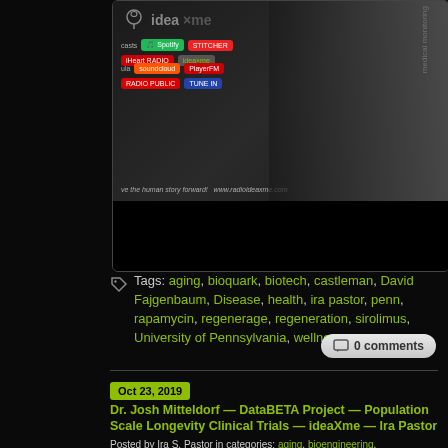[Figure (screenshot): ideaXme podcast banner showing logo and streaming platform icons including Spotify, Stitcher, iHeart Radio, SoundCloud, PlayerFM, Radio Public, TuneIn, with URL www.radioideaxme.com and a shirtless male figure with medical monitoring equipment. Lower portion is a black bar.]
Tags: aging, bioquark, biotech, castleman, David Fajgenbaum, Disease, health, ira pastor, penn, rapamycin, regenerage, regeneration, sirolimus, University of Pennsylvania, wellness
0 comments
Oct 23, 2019
Dr. Josh Mitteldorf — DataBETA Project — Population Scale Longevity Clinical Trials — ideaXme — Ira Pastor
Posted by Ira S. Pastor in categories: aging, bioengineering, biotech/medical, genetics, health, life extension, neuroscience